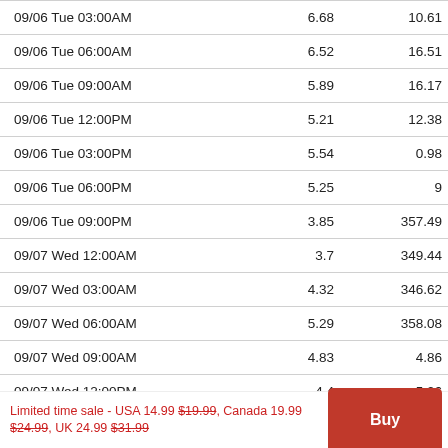| Date/Time |  |  |
| --- | --- | --- |
| 09/06 Tue 03:00AM | 6.68 | 10.61 |
| 09/06 Tue 06:00AM | 6.52 | 16.51 |
| 09/06 Tue 09:00AM | 5.89 | 16.17 |
| 09/06 Tue 12:00PM | 5.21 | 12.38 |
| 09/06 Tue 03:00PM | 5.54 | 0.98 |
| 09/06 Tue 06:00PM | 5.25 | 9 |
| 09/06 Tue 09:00PM | 3.85 | 357.49 |
| 09/07 Wed 12:00AM | 3.7 | 349.44 |
| 09/07 Wed 03:00AM | 4.32 | 346.62 |
| 09/07 Wed 06:00AM | 5.29 | 358.08 |
| 09/07 Wed 09:00AM | 4.83 | 4.86 |
| 09/07 Wed 12:00PM | 4.4 | 5.26 |
| 09/07 Wed 03:00PM | 4.92 | 356.14 |
Limited time sale - USA 14.99 $19.99, Canada 19.99 $24.99, UK 24.99 $31.99